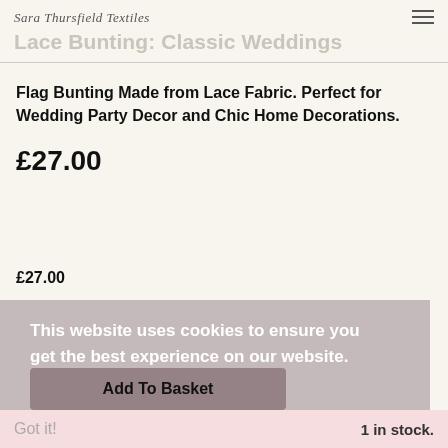Sara Thursfield Textiles
Lace Bunting: Classic Weddings
Flag Bunting Made from Lace Fabric. Perfect for Wedding Party Decor and Chic Home Decorations.
£27.00
£27.00
This website uses cookies to ensure you get the best experience on our website.
Add To Basket
Got it!   1 in stock.